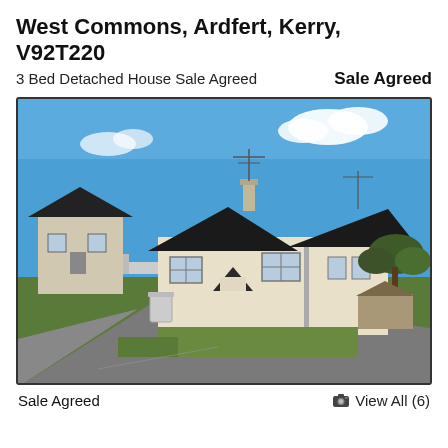West Commons, Ardfert, Kerry, V92T220
3 Bed Detached House Sale Agreed   Sale Agreed
[Figure (photo): Exterior photo of a detached 3-bedroom bungalow-style house with dark roof in West Commons, Ardfert, Kerry. Blue sky with clouds, green grass in front, road in foreground, neighboring house visible to the left, trees in background on right.]
Sale Agreed
View All (6)